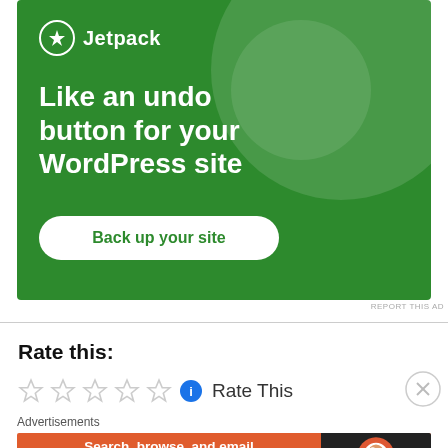[Figure (advertisement): Jetpack advertisement banner on green background: logo with lightning bolt icon and 'Jetpack' text, tagline 'Like an undo button for your WordPress site', white rounded button 'Back up your site']
REPORT THIS AD
Rate this:
[Figure (other): Five empty star rating icons followed by a blue info icon and 'Rate This' text]
Advertisements
[Figure (advertisement): DuckDuckGo advertisement: orange background with text 'Search, browse, and email with more privacy. All in One Free App' and DuckDuckGo logo on dark background]